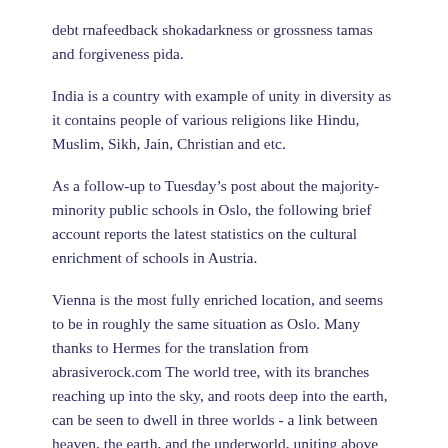debt rnafeedback shokadarkness or grossness tamas and forgiveness pida.
India is a country with example of unity in diversity as it contains people of various religions like Hindu, Muslim, Sikh, Jain, Christian and etc.
As a follow-up to Tuesday’s post about the majority-minority public schools in Oslo, the following brief account reports the latest statistics on the cultural enrichment of schools in Austria.
Vienna is the most fully enriched location, and seems to be in roughly the same situation as Oslo. Many thanks to Hermes for the translation from abrasiverock.com The world tree, with its branches reaching up into the sky, and roots deep into the earth, can be seen to dwell in three worlds - a link between heaven, the earth, and the underworld, uniting above and below.